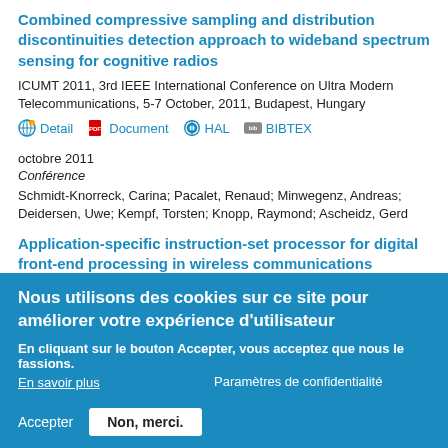Combined compressive sampling and distribution discontinuities detection approach to wideband spectrum sensing for cognitive radios
ICUMT 2011, 3rd IEEE International Conference on Ultra Modern Telecommunications, 5-7 October, 2011, Budapest, Hungary
Detail   Document   HAL   BIBTEX
octobre 2011
Conférence
Schmidt-Knorreck, Carina; Pacalet, Renaud; Minwegenz, Andreas; Deidersen, Uwe; Kempf, Torsten; Knopp, Raymond; Ascheidz, Gerd
Application-specific instruction-set processor for digital front-end processing in wireless communications
ACROPOLIS 2011, 1st Annual Workshop on Advanced coexistence technologies for radio resource usage optimisation, October 4-5, 2011, Barcelona, Spain
Detail   Docu...
Paramètres de confidentialité
Nous utilisons des cookies sur ce site pour améliorer votre expérience d'utilisateur
En cliquant sur le bouton Accepter, vous acceptez que nous le fassions.
En savoir plus
Accepter   Non, merci.